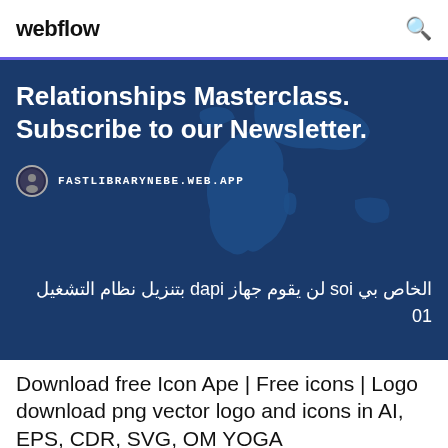webflow
Relationships Masterclass. Subscribe to our Newsletter.
FASTLIBRARYNEBE.WEB.APP
لن يقوم جهاز ipad بتنزيل نظام التشغيل ios الخاص بي 10
Download free Icon Ape | Free icons | Logo download png vector logo and icons in AI, EPS, CDR, SVG, OM YOGA